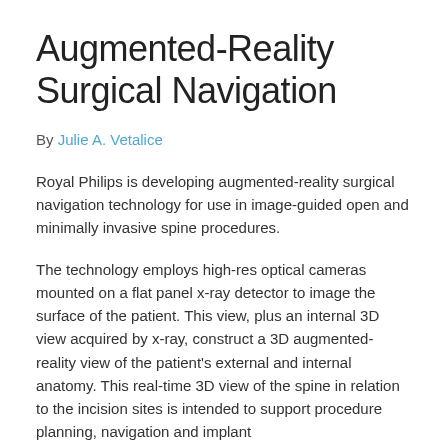Augmented-Reality Surgical Navigation
By Julie A. Vetalice
Royal Philips is developing augmented-reality surgical navigation technology for use in image-guided open and minimally invasive spine procedures.
The technology employs high-res optical cameras mounted on a flat panel x-ray detector to image the surface of the patient. This view, plus an internal 3D view acquired by x-ray, construct a 3D augmented-reality view of the patient's external and internal anatomy. This real-time 3D view of the spine in relation to the incision sites is intended to support procedure planning, navigation and implant